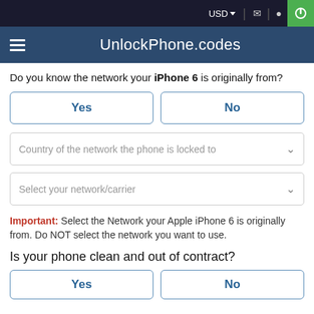USD  [mail icon] [location icon] [power icon]
UnlockPhone.codes
Do you know the network your iPhone 6 is originally from?
Yes
No
Country of the network the phone is locked to
Select your network/carrier
Important: Select the Network your Apple iPhone 6 is originally from. Do NOT select the network you want to use.
Is your phone clean and out of contract?
Yes
No